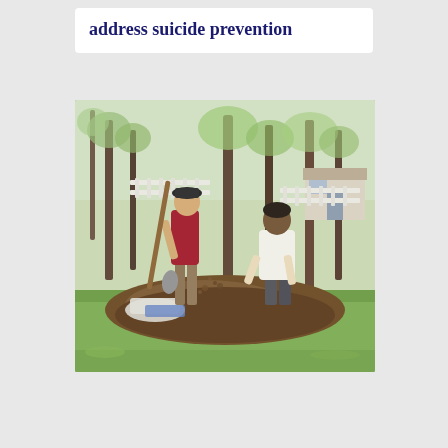address suicide prevention
[Figure (photo): Two men working outdoors in a park-like setting with trees. One man wearing a dark red shirt and black hat is standing and shoveling dirt/mulch with a long-handled shovel. Another man in a white t-shirt is kneeling and handling the mulch/soil with his hands. There is a pile of dark mulch/soil in the foreground, along with white bags. Trees and a white fence are visible in the background with green spring foliage.]